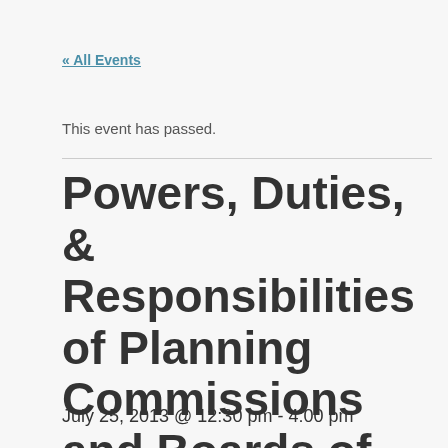« All Events
This event has passed.
Powers, Duties, & Responsibilities of Planning Commissions and Boards of Adjustment
July 25, 2013 @ 12:30 pm - 4:00 pm